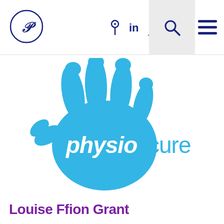Navigation bar with logo, location icon, LinkedIn icon, user icon, search icon, menu icon
[Figure (logo): PhysioCure logo: large blue handprint with the word 'physio' in white bold italic text overlaid on the palm, and 'cure' in lighter blue next to it]
Louise Ffion Grant